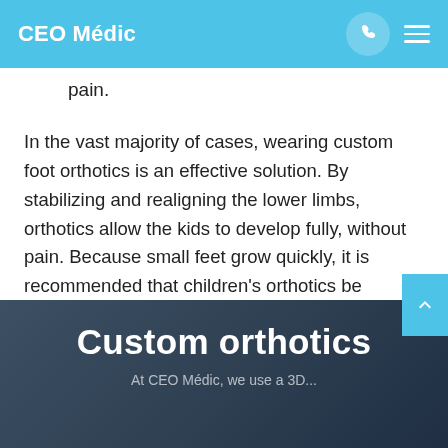CEO Médic
pain.
In the vast majority of cases, wearing custom foot orthotics is an effective solution. By stabilizing and realigning the lower limbs, orthotics allow the kids to develop fully, without pain. Because small feet grow quickly, it is recommended that children's orthotics be replaced within 18 to 24 months.
Custom orthotics
At CEO Médic, we use a 3D…